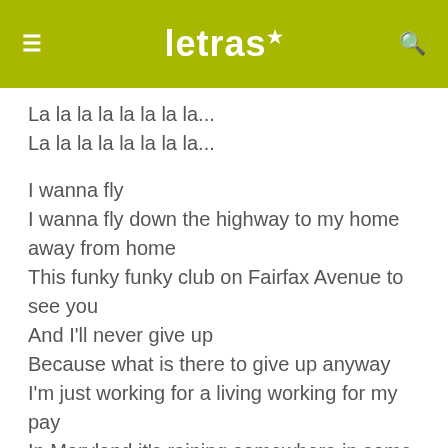letras
La la la la la la la la...
La la la la la la la la...

I wanna fly
I wanna fly down the highway to my home away from home
This funky funky club on Fairfax Avenue to see you
And I'll never give up
Because what is there to give up anyway
I'm just working for a living working for my pay
In Maryland it's raining somewhere in some cafe

Maryland, I'm coming home
Never worry about what I did wrong